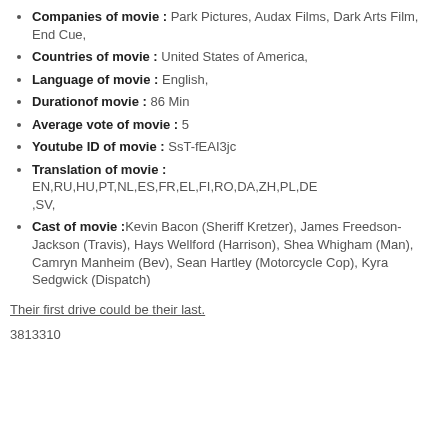Companies of movie : Park Pictures, Audax Films, Dark Arts Film, End Cue,
Countries of movie : United States of America,
Language of movie : English,
Durationof movie : 86 Min
Average vote of movie : 5
Youtube ID of movie : SsT-fEAI3jc
Translation of movie : EN,RU,HU,PT,NL,ES,FR,EL,FI,RO,DA,ZH,PL,DE,SV,
Cast of movie :Kevin Bacon (Sheriff Kretzer), James Freedson-Jackson (Travis), Hays Wellford (Harrison), Shea Whigham (Man), Camryn Manheim (Bev), Sean Hartley (Motorcycle Cop), Kyra Sedgwick (Dispatch)
Their first drive could be their last.
3813310